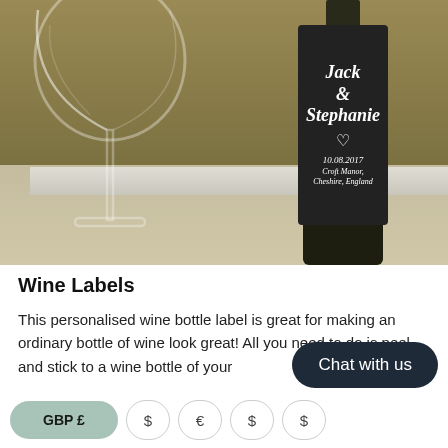[Figure (photo): Photo of a personalized wine bottle with a dark label reading 'Jack & Stephanie' with a heart, date 10.08.2017, and location Croft Manor, Cheshire, England. A wine glass is visible to the left.]
Wine Labels
This personalised wine bottle label is great for making an ordinary bottle of wine look great! All you need to do is peel and stick to a wine bottle of your